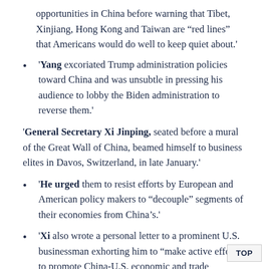opportunities in China before warning that Tibet, Xinjiang, Hong Kong and Taiwan are “red lines” that Americans would do well to keep quiet about.'
'Yang excoriated Trump administration policies toward China and was unsubtle in pressing his audience to lobby the Biden administration to reverse them.'
'General Secretary Xi Jinping, seated before a mural of the Great Wall of China, beamed himself to business elites in Davos, Switzerland, in late January.'
'He urged them to resist efforts by European and American policy makers to “decouple” segments of their economies from China’s.'
'Xi also wrote a personal letter to a prominent U.S. businessman exhorting him to “make active efforts to promote China-U.S. economic and trade cooperation.” '